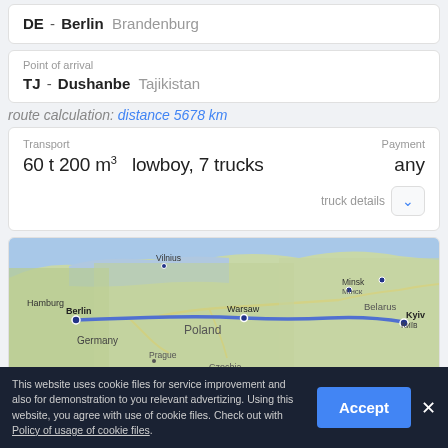DE - Berlin Brandenburg
Point of arrival
TJ - Dushanbe Tajikistan
route calculation: distance 5678 km
Transport
60 t 200 m³   lowboy, 7 trucks
Payment
any
truck details
[Figure (map): Route map showing a blue route line from Berlin, Germany through Poland, Warsaw, past Kyiv heading east. Cities visible: Hamburg, Berlin, Warsaw, Prague, Vilnius, Minsk, Kyiv, with country labels Germany, Poland, Belarus, Czechia.]
This website uses cookie files for service improvement and also for demonstration to you relevant advertizing. Using this website, you agree with use of cookie files. Check out with Policy of usage of cookie files.